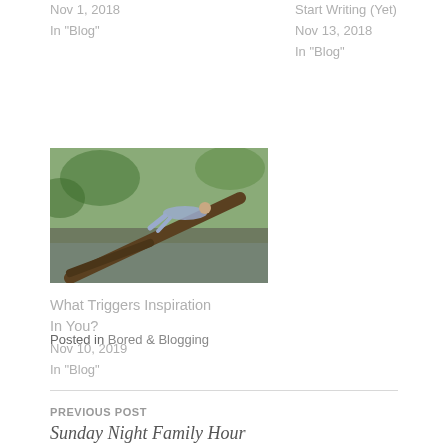Nov 1, 2018
In "Blog"
Start Writing (Yet)
Nov 13, 2018
In "Blog"
[Figure (photo): Person lying on a tree branch over water, outdoor nature scene with green vegetation]
What Triggers Inspiration In You?
Nov 10, 2019
In "Blog"
Posted in Bored & Blogging
PREVIOUS POST
Sunday Night Family Hour